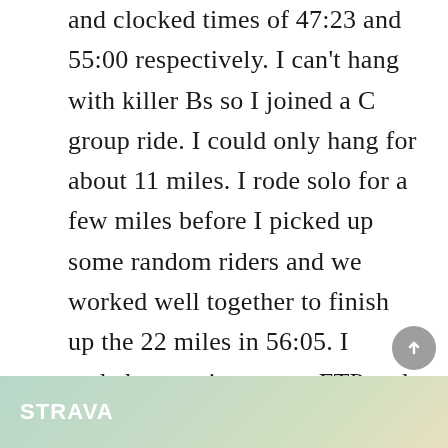and clocked times of 47:23 and 55:00 respectively.  I can't hang with killer Bs so I joined a C group ride.  I could only hang for about 11 miles.  I rode solo for a few miles before I picked up some random riders and we worked well together to finish up the 22 miles in 56:05.  I ended up setting a new FTP and a new all time 20 minute power. Not a terrible effort given how crappy I was feeling after three weeks of hard riding.  Now we just need to wait for the individual results to be tabulated (they were submitted via Google Doc and as of writing this final results are still a mystery).
[Figure (screenshot): Strava app banner at the bottom of the page, showing the STRAVA logo in white bold text on a green/teal illustrated background.]